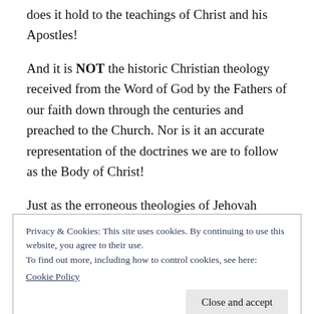does it hold to the teachings of Christ and his Apostles!
And it is NOT the historic Christian theology received from the Word of God by the Fathers of our faith down through the centuries and preached to the Church. Nor is it an accurate representation of the doctrines we are to follow as the Body of Christ!
Just as the erroneous theologies of Jehovah
Privacy & Cookies: This site uses cookies. By continuing to use this website, you agree to their use.
To find out more, including how to control cookies, see here: Cookie Policy
Close and accept
by